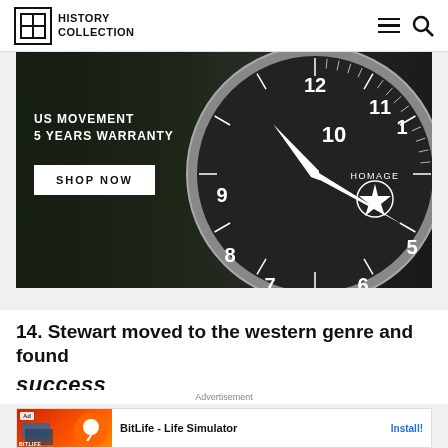History Collection
[Figure (photo): Watch advertisement banner: military-style pilot watch (HOMAGE brand) with black dial showing numerals, star emblem, and clock hands. Text overlay reads: US MOVEMENT / 5 YEARS WARRANTY / SHOP NOW button.]
14. Stewart moved to the western genre and found
success
Advertisement
[Figure (screenshot): BitLife - Life Simulator app advertisement with orange/red background, Ad label, and Install button.]